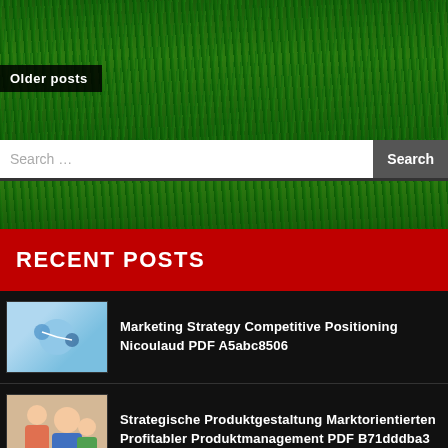[Figure (photo): Green grass texture background header with 'Older posts' label overlay]
Older posts
Search …
RECENT POSTS
Marketing Strategy Competitive Positioning Nicoulaud PDF A5abc8506
Strategische Produktgestaltung Marktorientierten Profitabler Produktmanagement PDF B71dddba3
Outside Insight Navigating Drowning External PDF B4f4a8cd5